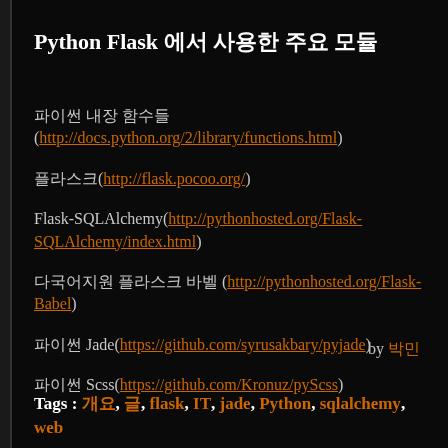Python Flask 에서 사용한 주요 모듈
파이썬 내장 함수들 (http://docs.python.org/2/library/functions.html)
플라스크(http://flask.pocoo.org/)
Flask-SQLAlchemy(http://pythonhosted.org/Flask-SQLAlchemy/index.html)
다국어지원 플라스크 바벨 (http://pythonhosted.org/Flask-Babel)
파이썬 Jade(https://github.com/syrusakbary/pyjade)
파이썬 Scss(https://github.com/Kronuz/pyScss)
by 박민
Tags : 개요, 글, flask, IT, jade, Python, sqlalchemy, web